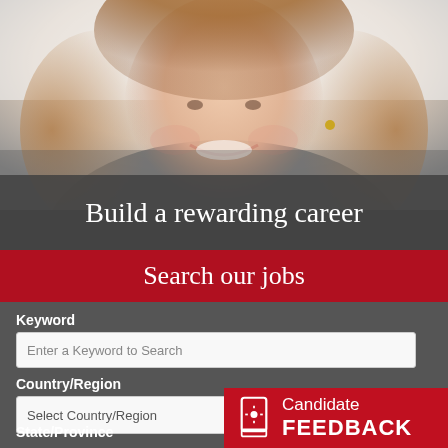[Figure (photo): Smiling professional woman with short auburn hair, white background, cropped to show face and shoulders]
Build a rewarding career
Search our jobs
Keyword
Enter a Keyword to Search
Country/Region
Select Country/Region
State/Province
Candidate FEEDBACK